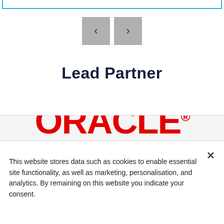[Figure (screenshot): Top border/frame element in cyan/teal color, bottom portion visible]
[Figure (screenshot): Navigation carousel buttons: left arrow '<' and right arrow '>' on grey square backgrounds]
Lead Partner
[Figure (logo): Oracle logo in large red bold text with registered trademark symbol, partially visible at bottom of a light grey box]
This website stores data such as cookies to enable essential site functionality, as well as marketing, personalisation, and analytics. By remaining on this website you indicate your consent.